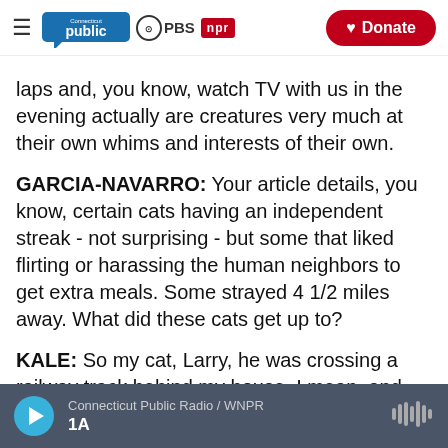Connecticut Public | PBS | NPR | Donate
laps and, you know, watch TV with us in the evening actually are creatures very much at their own whims and interests of their own.
GARCIA-NAVARRO: Your article details, you know, certain cats having an independent streak - not surprising - but some that liked flirting or harassing the human neighbors to get extra meals. Some strayed 4 1/2 miles away. What did these cats get up to?
KALE: So my cat, Larry, he was crossing a railway track behind my house. I mean, and
Connecticut Public Radio / WNPR | 1A